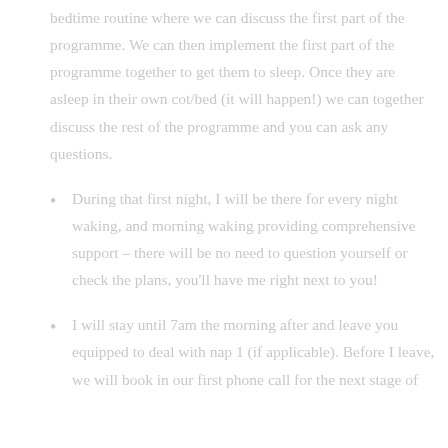bedtime routine where we can discuss the first part of the programme. We can then implement the first part of the programme together to get them to sleep. Once they are asleep in their own cot/bed (it will happen!) we can together discuss the rest of the programme and you can ask any questions.
During that first night, I will be there for every night waking, and morning waking providing comprehensive support – there will be no need to question yourself or check the plans, you'll have me right next to you!
I will stay until 7am the morning after and leave you equipped to deal with nap 1 (if applicable). Before I leave, we will book in our first phone call for the next stage of